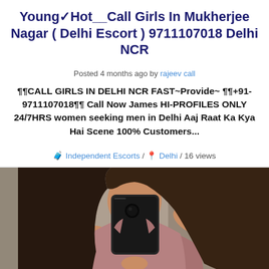Young✓Hot__Call Girls In Mukherjee Nagar ( Delhi Escort ) 9711107018 Delhi NCR
Posted 4 months ago by rajeev call
¶¶CALL GIRLS IN DELHI NCR FAST~Provide~ ¶¶+91-9711107018¶¶ Call Now James HI-PROFILES ONLY 24/7HRS women seeking men in Delhi Aaj Raat Ka Kya Hai Scene 100% Customers...
Independent Escorts / Delhi / 16 views
[Figure (photo): A young woman taking a mirror selfie with a smartphone, wearing a mauve/dusty rose top, with long brown hair, in what appears to be a bathroom setting.]